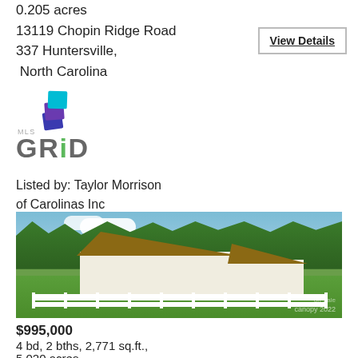0.205 acres
13119 Chopin Ridge Road
337 Huntersville, North Carolina
View Details
[Figure (logo): MLS GRID logo with stacked colored squares icon and bold GRID text]
Listed by: Taylor Morrison of Carolinas Inc
[Figure (photo): Aerial/elevated photo of a white ranch-style house with brown roof, white fence, green lawn, and trees in background. Canopy 2022 watermark visible.]
$995,000
4 bd, 2 bths, 2,771 sq.ft.,
5.020 acres